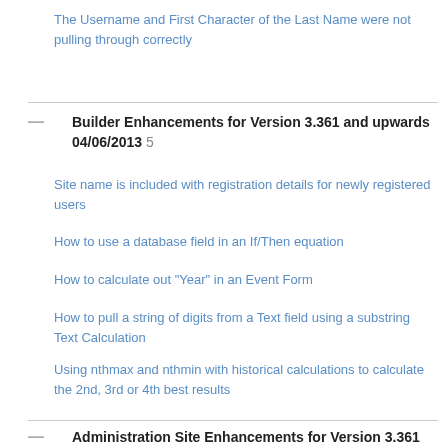The Username and First Character of the Last Name were not pulling through correctly
Site name is included with registration details for newly registered users
How to use a database field in an If/Then equation
How to calculate out "Year" in an Event Form
How to pull a string of digits from a Text field using a substring Text Calculation
Using nthmax and nthmin with historical calculations to calculate the 2nd, 3rd or 4th best results
Builder Enhancements for Version 3.361 and upwards 04/06/2013  5
Administration Site Enhancements for Version 3.361 and upwards 04/06/2013  4